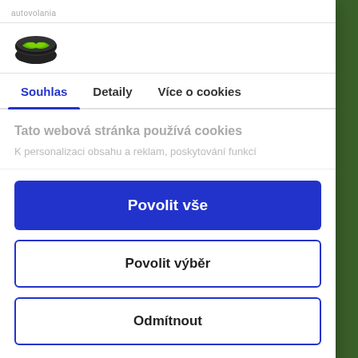autovolania
[Figure (logo): Green and black oval/coin-shaped logo icon]
Souhlas | Detaily | Více o cookies
Tato webová stránka používá cookies
K personalizaci obsahu a reklam, poskytování funkcí
Povolit vše
Povolit výběr
Odmítnout
Powered by Cookiebot by Usercentrics